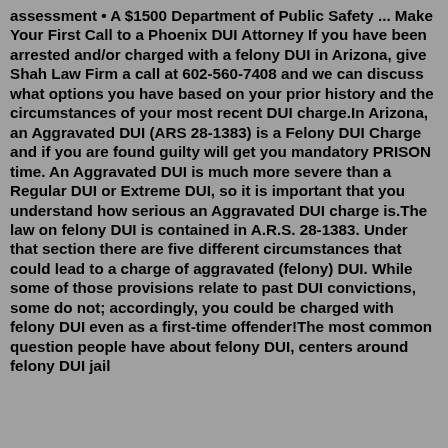assessment • A $1500 Department of Public Safety ... Make Your First Call to a Phoenix DUI Attorney If you have been arrested and/or charged with a felony DUI in Arizona, give Shah Law Firm a call at 602-560-7408 and we can discuss what options you have based on your prior history and the circumstances of your most recent DUI charge.In Arizona, an Aggravated DUI (ARS 28-1383) is a Felony DUI Charge and if you are found guilty will get you mandatory PRISON time. An Aggravated DUI is much more severe than a Regular DUI or Extreme DUI, so it is important that you understand how serious an Aggravated DUI charge is.The law on felony DUI is contained in A.R.S. 28-1383. Under that section there are five different circumstances that could lead to a charge of aggravated (felony) DUI. While some of those provisions relate to past DUI convictions, some do not; accordingly, you could be charged with felony DUI even as a first-time offender!The most common question people have about felony DUI, centers around felony DUI jail